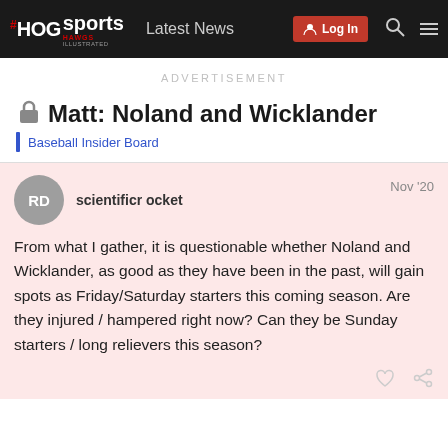HoG sports HAWGS ILLUSTRATED | Latest News | Log In
ADVERTISEMENT
Matt: Noland and Wicklander
Baseball Insider Board
scientificr ocket  Nov '20
From what I gather, it is questionable whether Noland and Wicklander, as good as they have been in the past, will gain spots as Friday/Saturday starters this coming season. Are they injured / hampered right now? Can they be Sunday starters / long relievers this season?